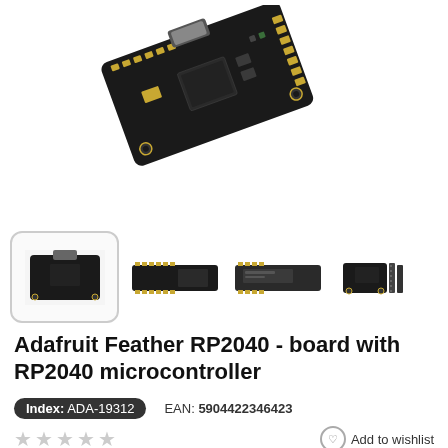[Figure (photo): Close-up photo of an Adafruit Feather RP2040 microcontroller board, angled view showing USB-C connector, components, and gold pads on a black PCB.]
[Figure (photo): Row of four thumbnail images of the Adafruit Feather RP2040 board from different angles: isometric, top, bottom, and with headers attached. First thumbnail is selected with a rounded border.]
Adafruit Feather RP2040 - board with RP2040 microcontroller
Index: ADA-19312   EAN: 5904422346423
★★★★★   Add to wishlist